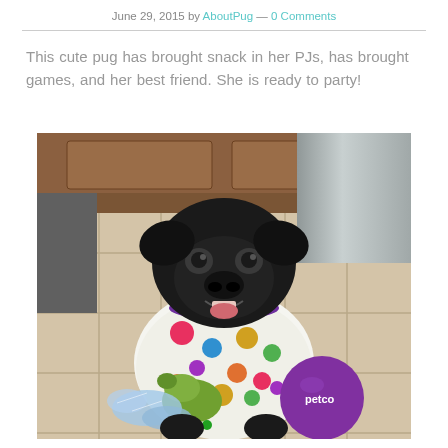June 29, 2015 by AboutPug — 0 Comments
This cute pug has brought snack in her PJs, has brought games, and her best friend.  She is ready to party!
[Figure (photo): A black pug wearing a colorful polka-dot pajama shirt, sitting on a tile floor in front of a cabinet, with a green stuffed animal toy, a purple Petco ball, and wrapped candy/snacks around it.]